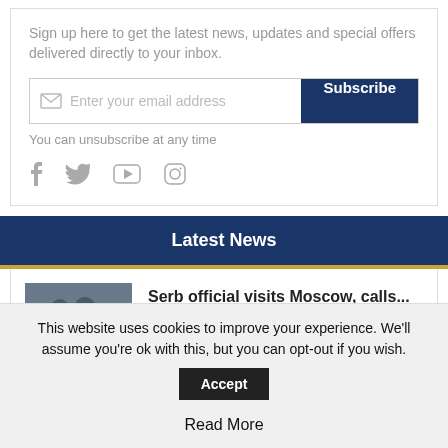Sign up here to get the latest news, updates and special offers delivered directly to your inbox.
You can unsubscribe at any time
Latest News
Serb official visits Moscow, calls...
Francesco Mazzag...
This website uses cookies to improve your experience. We'll assume you're ok with this, but you can opt-out if you wish.
Read More